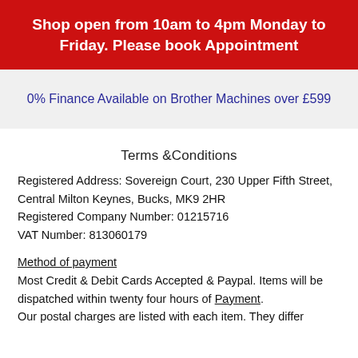Shop open from 10am to 4pm Monday to Friday. Please book Appointment
0% Finance Available on Brother Machines over £599
Terms &Conditions
Registered Address: Sovereign Court, 230 Upper Fifth Street, Central Milton Keynes, Bucks, MK9 2HR
Registered Company Number: 01215716
VAT Number: 813060179
Method of payment
Most Credit & Debit Cards Accepted & Paypal. Items will be dispatched within twenty four hours of Payment.
Our postal charges are listed with each item. They differ